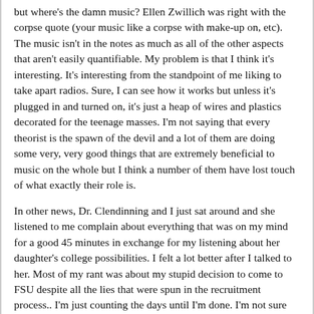but where's the damn music? Ellen Zwillich was right with the corpse quote (your music like a corpse with make-up on, etc). The music isn't in the notes as much as all of the other aspects that aren't easily quantifiable. My problem is that I think it's interesting. It's interesting from the standpoint of me liking to take apart radios. Sure, I can see how it works but unless it's plugged in and turned on, it's just a heap of wires and plastics decorated for the teenage masses. I'm not saying that every theorist is the spawn of the devil and a lot of them are doing some very, very good things that are extremely beneficial to music on the whole but I think a number of them have lost touch of what exactly their role is.
In other news, Dr. Clendinning and I just sat around and she listened to me complain about everything that was on my mind for a good 45 minutes in exchange for my listening about her daughter's college possibilities. I felt a lot better after I talked to her. Most of my rant was about my stupid decision to come to FSU despite all the lies that were spun in the recruitment process.. I'm just counting the days until I'm done. I'm not sure I'd even want to stay here if the steel band job opened up. I really am starting to hate everything about this program and would like nothing more than a new start.
Fourth Grade